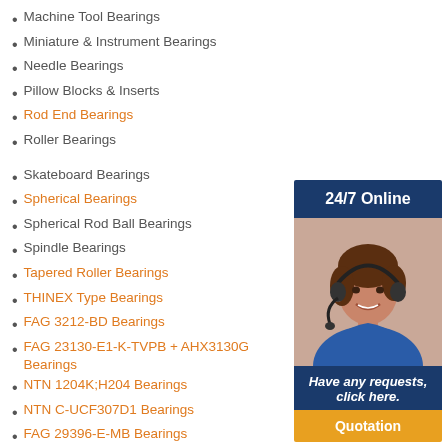Machine Tool Bearings
Miniature & Instrument Bearings
Needle Bearings
Pillow Blocks & Inserts
Rod End Bearings
Roller Bearings
Skateboard Bearings
Spherical Bearings
Spherical Rod Ball Bearings
Spindle Bearings
Tapered Roller Bearings
THINEX Type Bearings
FAG 3212-BD Bearings
FAG 23130-E1-K-TVPB + AHX3130G Bearings
NTN 1204K;H204 Bearings
NTN C-UCF307D1 Bearings
FAG 29396-E-MB Bearings
FAG B7206-C-2RSD-T-P4S Bearings
TIMKEN 41106/41286-B Bearings
INA RMWE07-RB/47x../18 Bearings
[Figure (infographic): 24/7 Online customer service widget with a woman wearing a headset, and a 'Have any requests, click here.' message with a Quotation button]